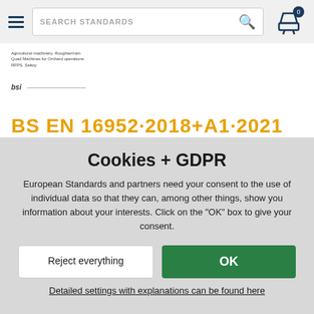SEARCH STANDARDS
[Figure (screenshot): Partial view of a BSI standards document cover page showing small text headers and a BSI logo with a horizontal line]
BS EN 16952·2018+A1·2021
Cookies + GDPR
European Standards and partners need your consent to the use of individual data so that they can, among other things, show you information about your interests. Click on the "OK" box to give your consent.
Reject everything
OK
Detailed settings with explanations can be found here